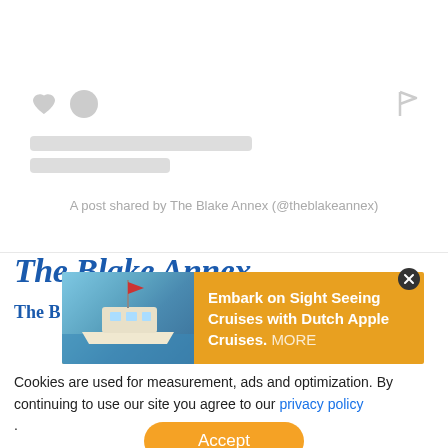[Figure (screenshot): Social media post card with heart icon, profile circle, flag icon, skeleton loading bars, and caption text 'A post shared by The Blake Annex (@theblakeannex)']
The Blake Annex
The B...
[Figure (infographic): Advertisement banner with boat image and text: Embark on Sight Seeing Cruises with Dutch Apple Cruises. MORE]
Cookies are used for measurement, ads and optimization. By continuing to use our site you agree to our privacy policy .
[Figure (other): Accept button (orange rounded rectangle)]